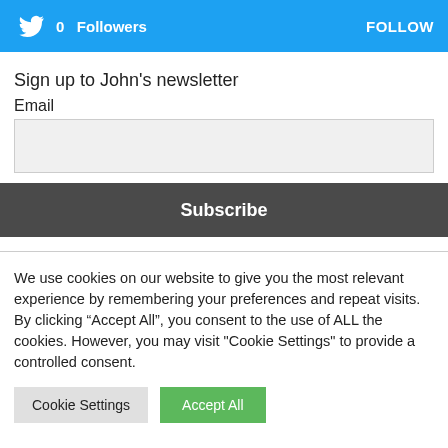[Figure (infographic): Twitter follow widget header bar with bird logo, '0 Followers' text on the left, and 'FOLLOW' button on the right, on a blue background.]
Sign up to John's newsletter
Email
Subscribe
We use cookies on our website to give you the most relevant experience by remembering your preferences and repeat visits. By clicking “Accept All”, you consent to the use of ALL the cookies. However, you may visit "Cookie Settings" to provide a controlled consent.
Cookie Settings
Accept All